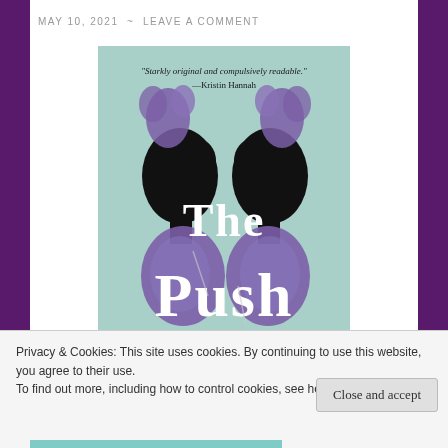MAY 10, 2021 ~ LEAVE A COMMENT
[Figure (illustration): Book cover of 'The Push' showing mirrored silhouettes of a woman with purple floral elements on a mint/teal background, with the text 'Starkly original and compulsively readable. —Kristin Hannah' at top and large white serif text 'The Push' overlaid on the silhouettes.]
Privacy & Cookies: This site uses cookies. By continuing to use this website, you agree to their use.
To find out more, including how to control cookies, see here: Cookie Policy
Close and accept